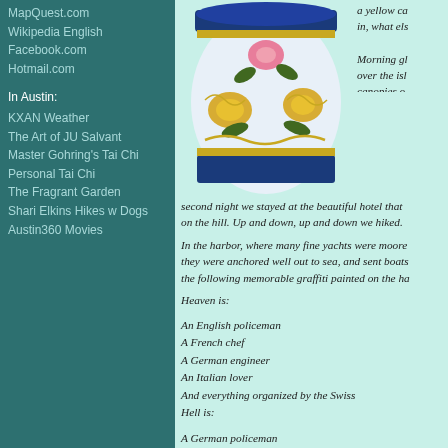MapQuest.com
Wikipedia English
Facebook.com
Hotmail.com
In Austin:
KXAN Weather
The Art of JU Salvant
Master Gohring's Tai Chi
Personal Tai Chi
The Fragrant Garden
Shari Elkins Hikes w Dogs
Austin360 Movies
[Figure (photo): Decorative ceramic vase or planter with floral motif — yellow and pink flowers on blue and white background with gold trim]
a yellow ca... in, what els...
Morning gl... over the isl... canopies o... blooming p... and bought... second night we stayed at the beautiful hotel that ... on the hill. Up and down, up and down we hiked.
In the harbor, where many fine yachts were moore... they were anchored well out to sea, and sent boats... the following memorable graffiti painted on the ha...
Heaven is:
An English policeman
A French chef
A German engineer
An Italian lover
And everything organized by the Swiss
Hell is:
A German policeman
A French engineer
An English chef
A Swiss lover
And everything organized by the Italians